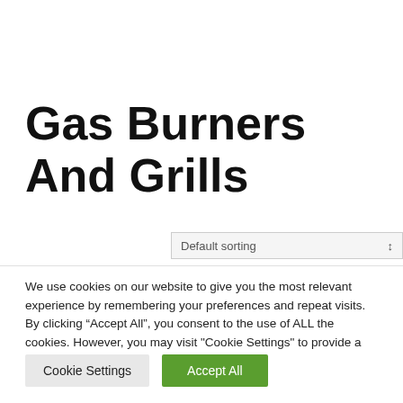Gas Burners And Grills
Default sorting
We use cookies on our website to give you the most relevant experience by remembering your preferences and repeat visits. By clicking “Accept All”, you consent to the use of ALL the cookies. However, you may visit "Cookie Settings" to provide a controlled consent.
Cookie Settings
Accept All